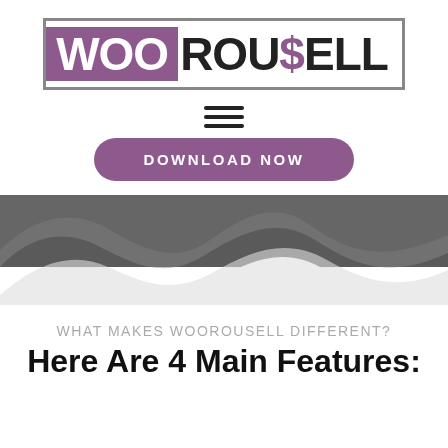[Figure (logo): WooRou$ell logo with purple WOO box and dark ROUSELL text with purple dollar sign]
[Figure (illustration): Hamburger menu icon (three horizontal lines)]
[Figure (illustration): Purple rounded pill button with text DOWNLOAD NOW]
[Figure (illustration): Wave-shaped decorative section with dark background and white/gray layered wave shapes]
WHAT MAKES WOOROUSELL DIFFERENT?
Here Are 4 Main Features: